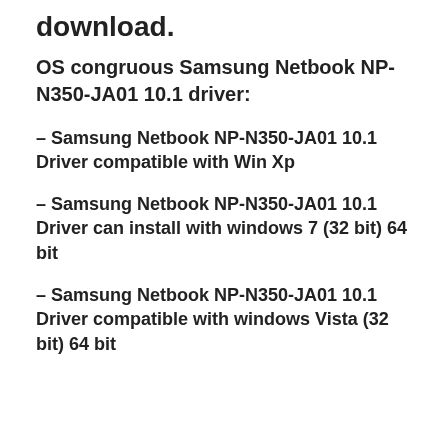download.
OS congruous Samsung Netbook NP-N350-JA01 10.1 driver:
– Samsung Netbook NP-N350-JA01 10.1 Driver compatible with Win Xp
– Samsung Netbook NP-N350-JA01 10.1 Driver can install with windows 7 (32 bit) 64 bit
– Samsung Netbook NP-N350-JA01 10.1 Driver compatible with windows Vista (32 bit) 64 bit